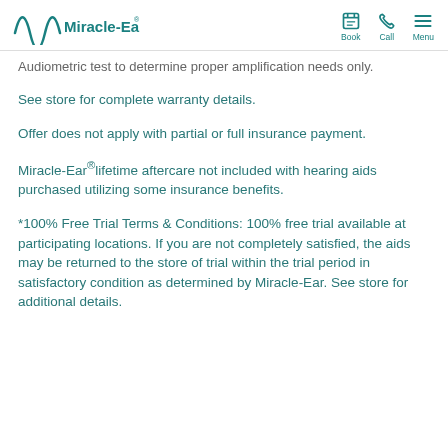Miracle-Ear | Book | Call | Menu
Audiometric test to determine proper amplification needs only.
See store for complete warranty details.
Offer does not apply with partial or full insurance payment.
Miracle-Ear®lifetime aftercare not included with hearing aids purchased utilizing some insurance benefits.
*100% Free Trial Terms & Conditions: 100% free trial available at participating locations. If you are not completely satisfied, the aids may be returned to the store of trial within the trial period in satisfactory condition as determined by Miracle-Ear. See store for additional details.